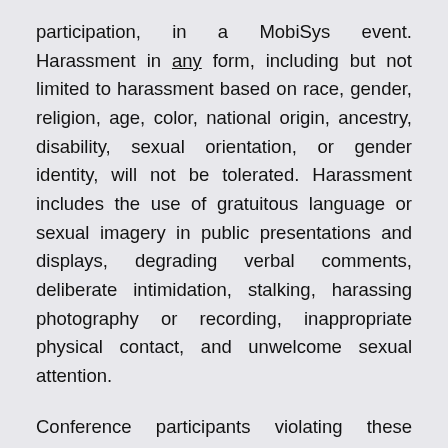participation, in a MobiSys event. Harassment in any form, including but not limited to harassment based on race, gender, religion, age, color, national origin, ancestry, disability, sexual orientation, or gender identity, will not be tolerated. Harassment includes the use of gratuitous language or sexual imagery in public presentations and displays, degrading verbal comments, deliberate intimidation, stalking, harassing photography or recording, inappropriate physical contact, and unwelcome sexual attention.
Conference participants violating these standards may be sanctioned, expelled from the conference or asked not to attend future conferences or conference events, at the discretion of the conference organizers and the SIG executive committee.
If you believe you have been harassed or notice that